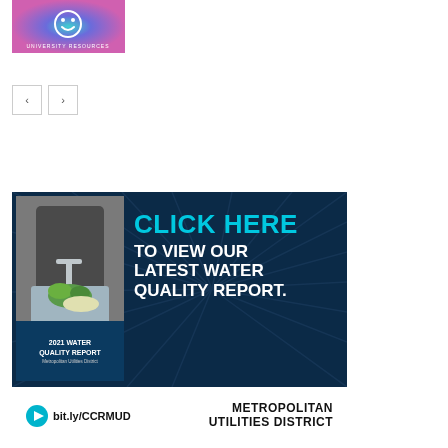[Figure (illustration): Circular gradient illustration with smiley face icon and 'UNIVERSITY RESOURCES' text around the edge, teal/purple/pink gradient background]
[Figure (other): Navigation buttons: left arrow and right arrow in square bordered boxes]
[Figure (infographic): Metropolitan Utilities District advertisement banner with dark navy background. Shows a person washing vegetables at a sink, text 'CLICK HERE TO VIEW OUR LATEST WATER QUALITY REPORT.' and '2021 Water Quality Report' book cover. Footer shows 'bit.ly/CCRMUD' and Metropolitan Utilities District logo.]